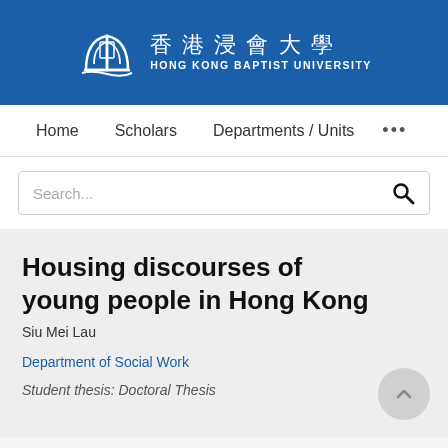[Figure (logo): Hong Kong Baptist University logo with Chinese characters 香港浸會大學 and English name, white on blue background]
Home   Scholars   Departments / Units   ...
Search...
Housing discourses of young people in Hong Kong
Siu Mei Lau
Department of Social Work
Student thesis: Doctoral Thesis